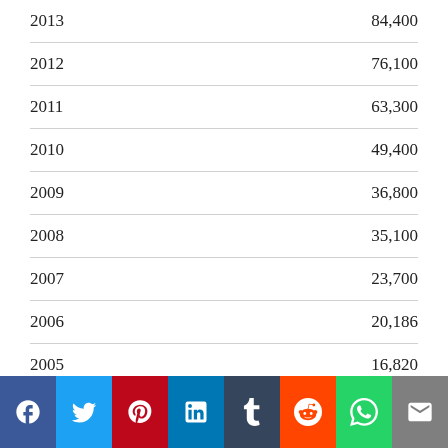| Year | Value |
| --- | --- |
| 2013 | 84,400 |
| 2012 | 76,100 |
| 2011 | 63,300 |
| 2010 | 49,400 |
| 2009 | 36,800 |
| 2008 | 35,100 |
| 2007 | 23,700 |
| 2006 | 20,186 |
| 2005 | 16,820 |